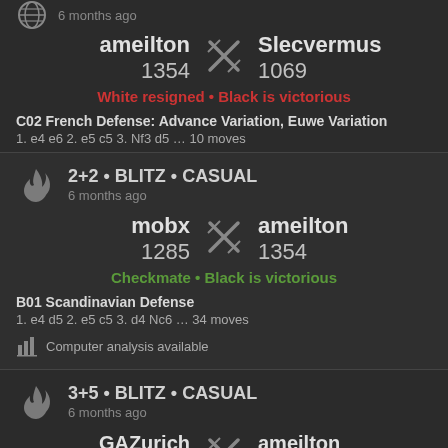6 months ago
ameilton 1354 vs Slecvermus 1069
White resigned • Black is victorious
C02 French Defense: Advance Variation, Euwe Variation
1. e4 e6 2. e5 c5 3. Nf3 d5 … 10 moves
2+2 • BLITZ • CASUAL
6 months ago
mobx 1285 vs ameilton 1354
Checkmate • Black is victorious
B01 Scandinavian Defense
1. e4 d5 2. e5 c5 3. d4 Nc6 … 34 moves
Computer analysis available
3+5 • BLITZ • CASUAL
6 months ago
GAZurich vs ameilton